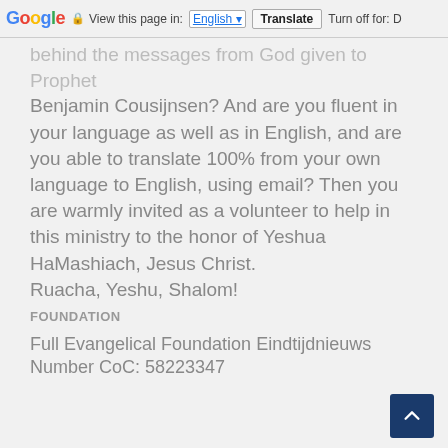Google | View this page in: English | Translate | Turn off for: D
behind the messages from God given to Prophet Benjamin Cousijnsen? And are you fluent in your language as well as in English, and are you able to translate 100% from your own language to English, using email? Then you are warmly invited as a volunteer to help in this ministry to the honor of Yeshua HaMashiach, Jesus Christ.
Ruacha, Yeshu, Shalom!
FOUNDATION
Full Evangelical Foundation Eindtijdnieuws
Number CoC: 58223347